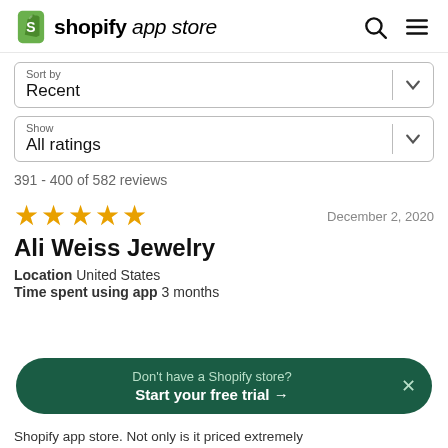shopify app store
Sort by
Recent
Show
All ratings
391 - 400 of 582 reviews
★★★★★   December 2, 2020
Ali Weiss Jewelry
Location   United States
Time spent using app   3 months
Don't have a Shopify store?
Start your free trial →
Shopify app store. Not only is it priced extremely